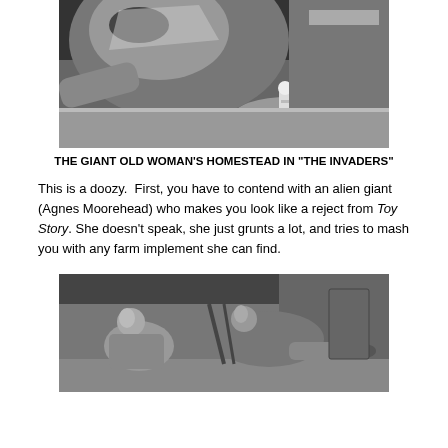[Figure (photo): Black and white still from The Twilight Zone episode 'The Invaders' showing a giant woman's face looming over a tiny astronaut figure on a table surface.]
THE GIANT OLD WOMAN'S HOMESTEAD IN "THE INVADERS"
This is a doozy.  First, you have to contend with an alien giant (Agnes Moorehead) who makes you look like a reject from Toy Story. She doesn't speak, she just grunts a lot, and tries to mash you with any farm implement she can find.
[Figure (photo): Black and white still from The Twilight Zone showing two people seated/reclining, possibly inside a spacecraft or vehicle interior.]